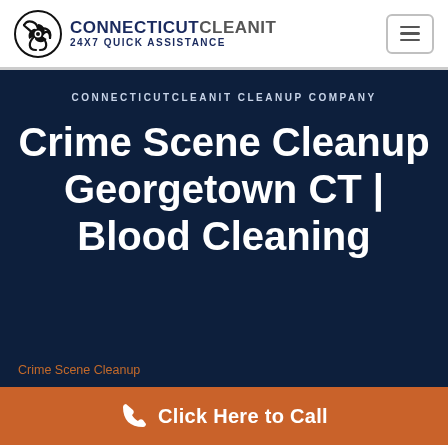[Figure (logo): Connecticut CleanIt biohazard logo with text CONNECTICUT CLEANIT 24x7 QUICK ASSISTANCE and hamburger menu button]
CONNECTICUTCLEANIT CLEANUP COMPANY
Crime Scene Cleanup Georgetown CT | Blood Cleaning
Crime Scene Cleanup
Click Here to Call